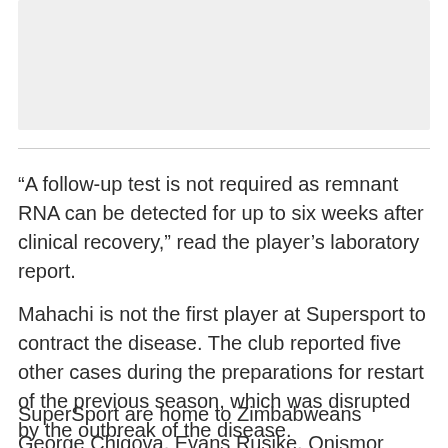[Figure (photo): Image placeholder at top of page]
“A follow-up test is not required as remnant RNA can be detected for up to six weeks after clinical recovery,” read the player’s laboratory report.
Mahachi is not the first player at Supersport to contract the disease. The club reported five other cases during the preparations for restart of the previous season, which was disrupted by the outbreak of the disease.
SuperSport are home to Zimbabweans George Chigova, Evans Rusike, Onismor